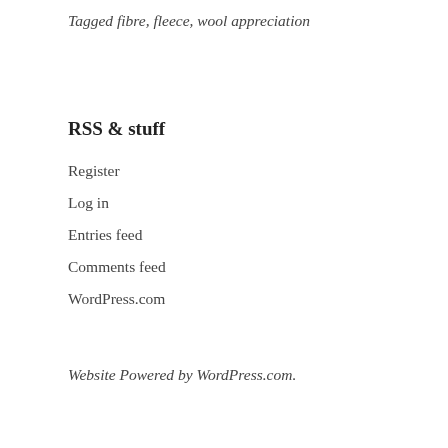Tagged fibre, fleece, wool appreciation
RSS & stuff
Register
Log in
Entries feed
Comments feed
WordPress.com
Website Powered by WordPress.com.